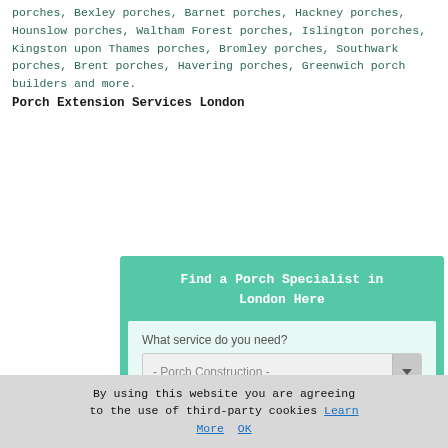porches, Bexley porches, Barnet porches, Hackney porches, Hounslow porches, Waltham Forest porches, Islington porches, Kingston upon Thames porches, Bromley porches, Southwark porches, Brent porches, Havering porches, Greenwich porch builders and more.
Porch Extension Services London
[Figure (screenshot): A web form widget with teal/green background titled 'Find a Porch Specialist in London Here', containing two dropdown selectors ('What service do you need?' with '- Porch Construction -' selected, and 'Where do you need it?' with '- Select Location -'), and a CONTINUE button.]
By using this website you are agreeing to the use of third-party cookies Learn More OK